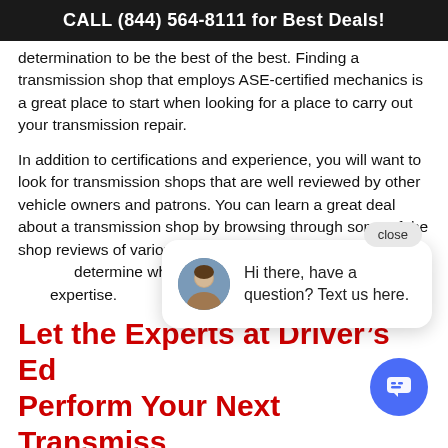CALL (844) 564-8111 for Best Deals!
determination to be the best of the best. Finding a transmission shop that employs ASE-certified mechanics is a great place to start when looking for a place to carry out your transmission repair.
In addition to certifications and experience, you will want to look for transmission shops that are well reviewed by other vehicle owners and patrons. You can learn a great deal about a transmission shop by browsing through some of the shop reviews of various transmissi... repairs that th... determine whic... perform transm... expertise.
Let the Experts at Driver’s Ed Perform Your Next Transmiss Repair